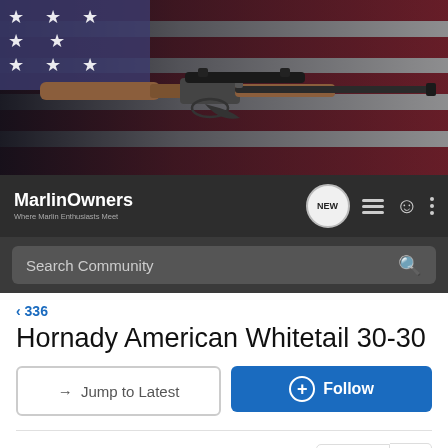[Figure (photo): Banner image of a Marlin lever-action rifle resting on an American flag, dark background]
MarlinOwners — Where Marlin Enthusiasts Meet. Navigation icons: NEW, list, user, more.
Search Community
< 336
Hornady American Whitetail 30-30
→ Jump to Latest
+ Follow
1 - 20 of 23 Posts
1 of 2 ▶
North country gal · Registered